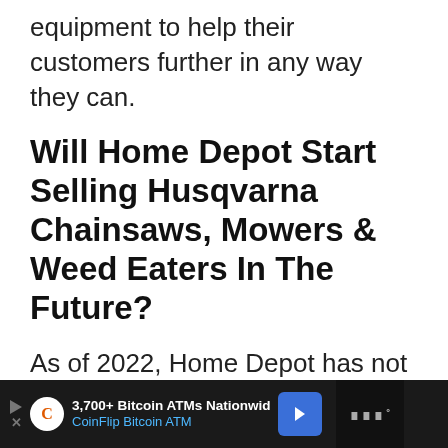equipment to help their customers further in any way they can.
Will Home Depot Start Selling Husqvarna Chainsaws, Mowers & Weed Eaters In The Future?
As of 2022, Home Depot has not released any official statements declaring a partnership with Husqvarna.
[Figure (other): Advertisement banner for CoinFlip Bitcoin ATM: '3,700+ Bitcoin ATMs Nationwid' and 'CoinFlip Bitcoin ATM' with logo, arrow button, and right-side icon strip on dark background]